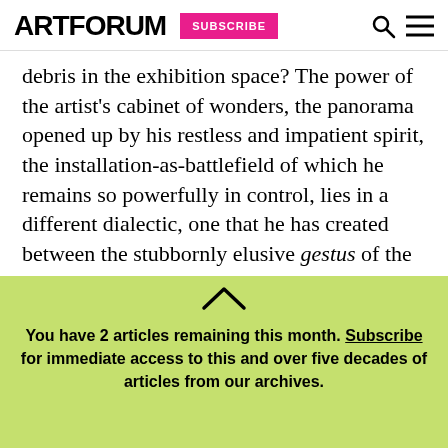ARTFORUM SUBSCRIBE
debris in the exhibition space? The power of the artist’s cabinet of wonders, the panorama opened up by his restless and impatient spirit, the installation-as-battlefield of which he remains so powerfully in control, lies in a different dialectic, one that he has created between the stubbornly elusive gestus of the exhibition as a whole and the endless teeming of its constituent parts, which forges not the synthesis of easy resolution but rather an overwhelming sense of self-reinforcing chaos. The tension of this total
You have 2 articles remaining this month. Subscribe for immediate access to this and over five decades of articles from our archives.